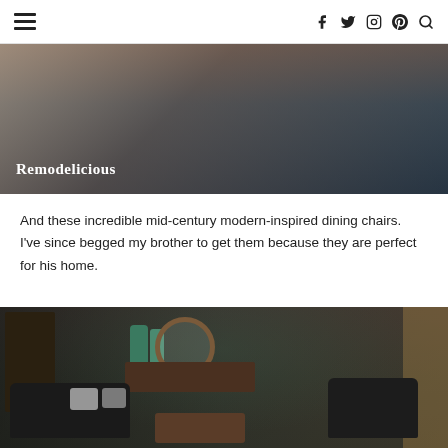Navigation and social icons header
[Figure (photo): Close-up photo of furniture with 'Remodelicious' watermark text overlaid in white serif font at bottom left]
And these incredible mid-century modern-inspired dining chairs.  I've since begged my brother to get them because they are perfect for his home.
[Figure (photo): Interior photo of a living room display with dark leather sofas, decorative pillows, a wooden coffee table, a round wooden mirror, green vases on a sideboard, floor lamp, shelving unit, and a wood-paneled door on the right]